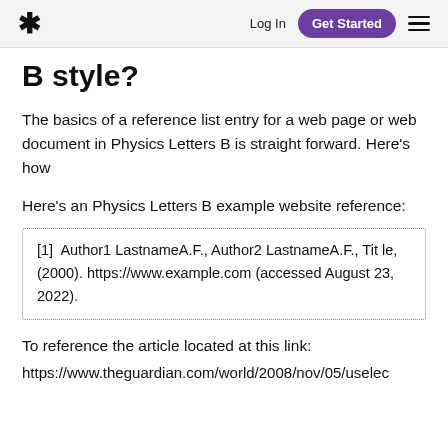* Log In Get Started ≡
B style?
The basics of a reference list entry for a web page or web document in Physics Letters B is straight forward. Here's how
Here's an Physics Letters B example website reference:
[1]  Author1 LastnameA.F., Author2 LastnameA.F., Title, (2000). https://www.example.com (accessed August 23, 2022).
To reference the article located at this link:
https://www.theguardian.com/world/2008/nov/05/uselec